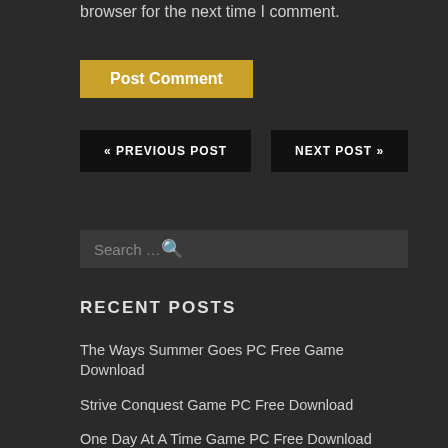browser for the next time I comment.
Post Comment
« PREVIOUS POST
NEXT POST »
Search …
RECENT POSTS
The Ways Summer Goes PC Free Game Download
Strive Conquest Game PC Free Download
One Day At A Time Game PC Free Download
Nasty City Game PC Free Download